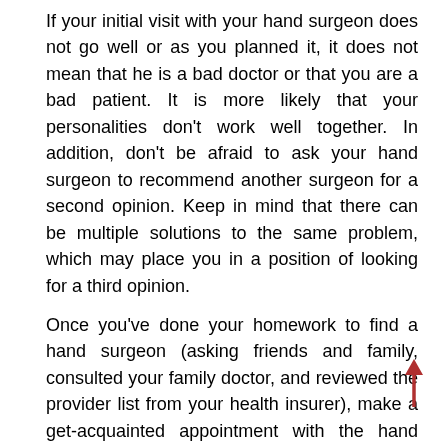If your initial visit with your hand surgeon does not go well or as you planned it, it does not mean that he is a bad doctor or that you are a bad patient. It is more likely that your personalities don't work well together. In addition, don't be afraid to ask your hand surgeon to recommend another surgeon for a second opinion. Keep in mind that there can be multiple solutions to the same problem, which may place you in a position of looking for a third opinion.
Once you've done your homework to find a hand surgeon (asking friends and family, consulted your family doctor, and reviewed the provider list from your health insurer), make a get-acquainted appointment with the hand surgeon you prefer.